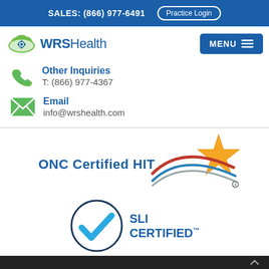SALES: (866) 977-6491   Practice Login
[Figure (logo): WRS Health logo with cloud icon and text]
MENU
Other Inquiries
T: (866) 977-4367
Email
info@wrshealth.com
[Figure (logo): ONC Certified HIT logo with swoosh and star]
[Figure (logo): SLI Certified logo with checkmark in circle]